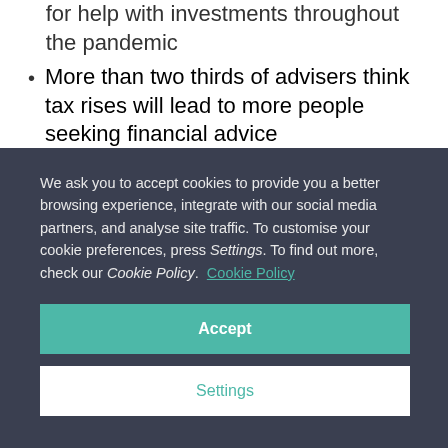for help with investments throughout the pandemic
More than two thirds of advisers think tax rises will lead to more people seeking financial advice
Results from an AJ Bell Survey of over 400
We ask you to accept cookies to provide you a better browsing experience, integrate with our social media partners, and analyse site traffic. To customise your cookie preferences, press Settings. To find out more, check our Cookie Policy. Cookie Policy
Accept
Settings